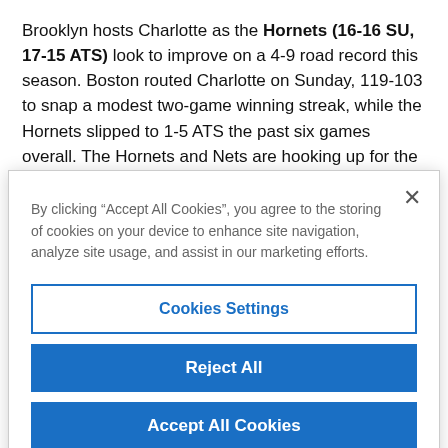Brooklyn hosts Charlotte as the Hornets (16-16 SU, 17-15 ATS) look to improve on a 4-9 road record this season. Boston routed Charlotte on Sunday, 119-103 to snap a modest two-game winning streak, while the Hornets slipped to 1-5 ATS the past six games overall. The Hornets and Nets are hooking up for the first time this season as Charlotte grabbed two of
By clicking “Accept All Cookies”, you agree to the storing of cookies on your device to enhance site navigation, analyze site usage, and assist in our marketing efforts.
Cookies Settings
Reject All
Accept All Cookies